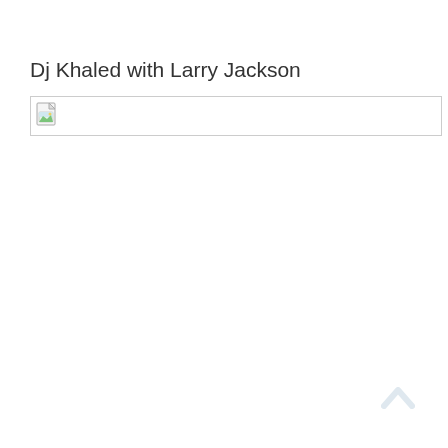Dj Khaled with Larry Jackson
[Figure (other): Broken/unloaded image placeholder with document icon and border, representing a photo of Dj Khaled with Larry Jackson]
[Figure (other): Scroll-to-top button icon (upward chevron arrow) in light blue/gray, bottom-right corner]